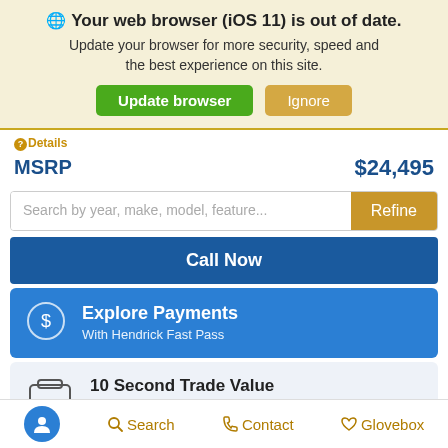🌐 Your web browser (iOS 11) is out of date. Update your browser for more security, speed and the best experience on this site. [Update browser] [Ignore]
Details
MSRP   $24,495
Search by year, make, model, feature...   Refine
Call Now
Explore Payments With Hendrick Fast Pass
10 Second Trade Value See Your Car's Value
[Accessibility] Search   Contact   Glovebox